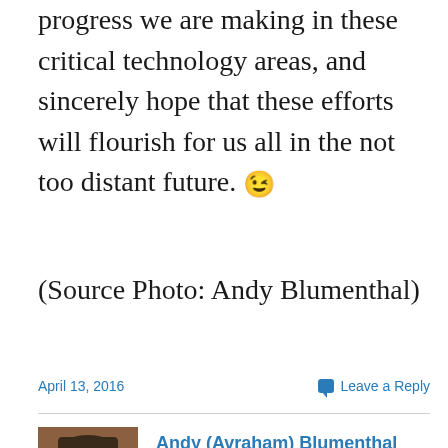progress we are making in these critical technology areas, and sincerely hope that these efforts will flourish for us all in the not too distant future. 😉
(Source Photo: Andy Blumenthal)
April 13, 2016
Leave a Reply
[Figure (photo): Headshot photo of Andy (Avraham) Blumenthal, a man in a suit with an American flag in the background]
Andy (Avraham) Blumenthal